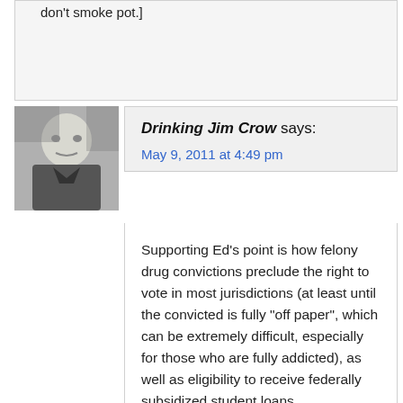don't smoke pot.]
Drinking Jim Crow says:
May 9, 2011 at 4:49 pm
Supporting Ed's point is how felony drug convictions preclude the right to vote in most jurisdictions (at least until the convicted is fully "off paper", which can be extremely difficult, especially for those who are fully addicted), as well as eligibility to receive federally subsidized student loans.
That's two excellent methods toward further marginalizing the underclasses, both of which passed into mainstream acceptability with nary a whimper of protest.
And right now the notion of denying eligibility for